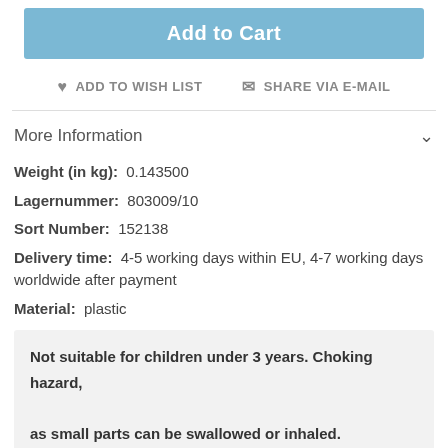Add to Cart
♥ ADD TO WISH LIST   ✉ SHARE VIA E-MAIL
More Information
Weight (in kg): 0.143500
Lagernummer: 803009/10
Sort Number: 152138
Delivery time: 4-5 working days within EU, 4-7 working days worldwide after payment
Material: plastic
Not suitable for children under 3 years. Choking hazard, as small parts can be swallowed or inhaled.
Reviews